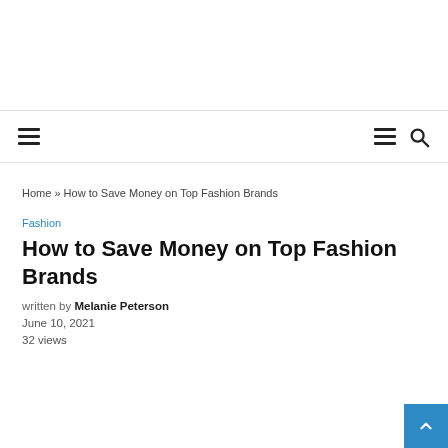Home » How to Save Money on Top Fashion Brands
Fashion
How to Save Money on Top Fashion Brands
written by Melanie Peterson
June 10, 2021
32 views